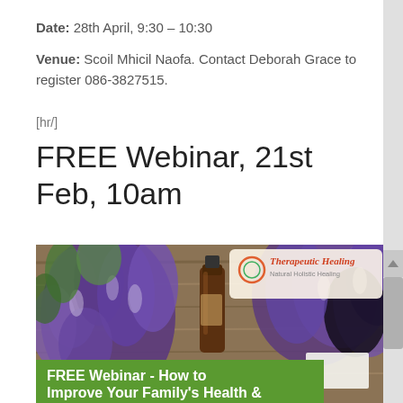Date: 28th April, 9:30 – 10:30
Venue: Scoil Mhicil Naofa. Contact Deborah Grace to register 086-3827515.
[hr/]
FREE Webinar, 21st Feb, 10am
[Figure (photo): Photo of purple lavender flowers and an amber essential oil bottle on a wooden surface, with a 'Therapeutic Healing – Natural Holistic Healing' logo in the upper right, and a green banner at the bottom reading 'FREE Webinar – How to Improve Your Family's Health &']